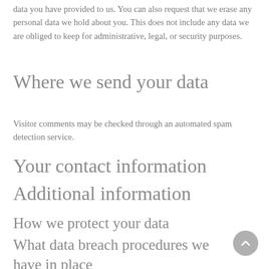data you have provided to us. You can also request that we erase any personal data we hold about you. This does not include any data we are obliged to keep for administrative, legal, or security purposes.
Where we send your data
Visitor comments may be checked through an automated spam detection service.
Your contact information
Additional information
How we protect your data
What data breach procedures we have in place